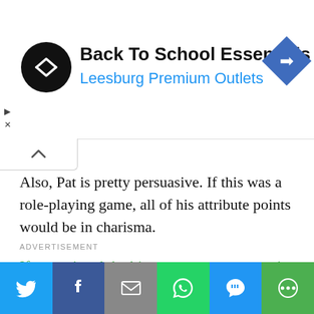[Figure (other): Advertisement banner: circular black logo with double arrow icon, text 'Back To School Essentials' in bold black, 'Leesburg Premium Outlets' in blue, blue diamond navigation icon on right]
Also, Pat is pretty persuasive. If this was a role-playing game, all of his attribute points would be in charisma.
ADVERTISEMENT
If you missed the big announcement post in June, Starting Line is pivoting to becoming a news source that directly takes on disinformation, something we've all been exposed to. I'm not going to lie, it will be a challenge but that's part of what intrigued me about this opportunity.
[Figure (other): Social sharing bar with Twitter, Facebook, Email, WhatsApp, SMS, and More buttons in respective brand colors]